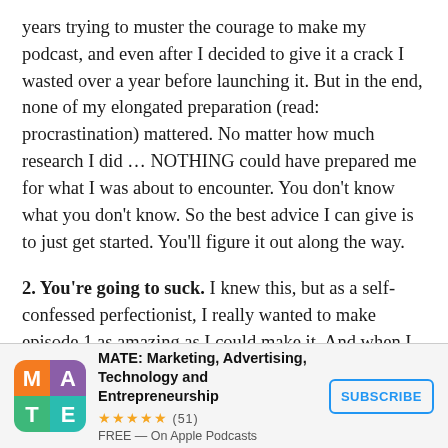years trying to muster the courage to make my podcast, and even after I decided to give it a crack I wasted over a year before launching it. But in the end, none of my elongated preparation (read: procrastination) mattered. No matter how much research I did … NOTHING could have prepared me for what I was about to encounter. You don't know what you don't know. So the best advice I can give is to just get started. You'll figure it out along the way.
2. You're going to suck. I knew this, but as a self-confessed perfectionist, I really wanted to make episode 1 as amazing as I could make it. And when I released it, I was so proud … I had never heard anything more beautiful. It's funny, because now
[Figure (logo): MATE podcast app banner with colorful 2x2 logo (M orange top-left, A purple top-right, T green bottom-left, E teal bottom-right), title 'MATE: Marketing, Advertising, Technology and Entrepreneurship', 5-star rating (51 reviews), FREE on Apple Podcasts, and a SUBSCRIBE button]